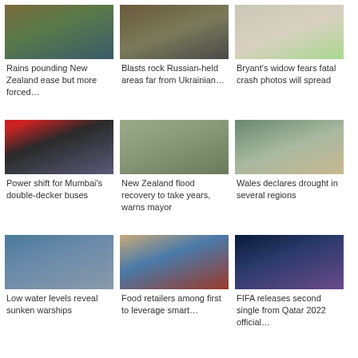[Figure (photo): Flooded river or water scene, New Zealand rains]
Rains pounding New Zealand ease but more forced…
[Figure (photo): Blast or conflict scene in Russian-held area]
Blasts rock Russian-held areas far from Ukrainian…
[Figure (photo): Portrait of Vanessa Bryant in colorful clothing]
Bryant's widow fears fatal crash photos will spread
[Figure (photo): Red double-decker bus with crowd of people in Mumbai]
Power shift for Mumbai's double-decker buses
[Figure (photo): Flooded road with cars in New Zealand]
New Zealand flood recovery to take years, warns mayor
[Figure (photo): Dry cracked earth with narrow water channel, Wales drought]
Wales declares drought in several regions
[Figure (photo): Low water levels revealing sunken warships]
Low water levels reveal sunken warships
[Figure (photo): Portrait of man in suit, food retailer executive]
Food retailers among first to leverage smart…
[Figure (photo): FIFA Qatar 2022 official song promotional artwork]
FIFA releases second single from Qatar 2022 official…